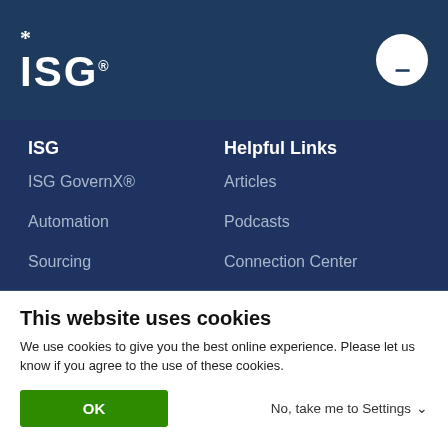ISG logo and menu button
ISG
Helpful Links
ISG GovernX®
Articles
Automation
Podcasts
Sourcing
Connection Center
Cybersecurity
Unsubscribe page
This website uses cookies
We use cookies to give you the best online experience. Please let us know if you agree to the use of these cookies.
OK
No, take me to Settings